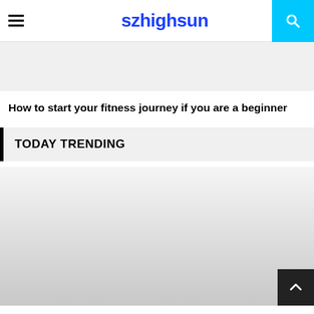szhighsun
[Figure (other): Gray advertisement banner placeholder]
How to start your fitness journey if you are a beginner
TODAY TRENDING
[Figure (photo): Large gray image placeholder with back-to-top arrow button in bottom right corner]